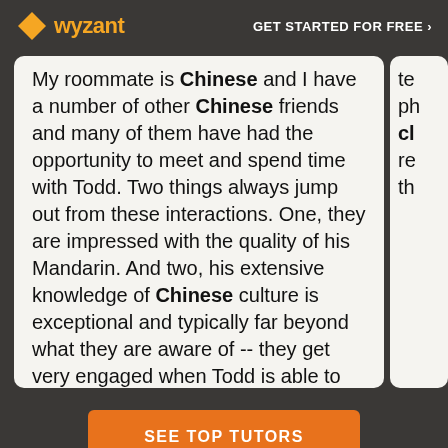wyzant — GET STARTED FOR FREE ›
My roommate is Chinese and I have a number of other Chinese friends and many of them have had the opportunity to meet and spend time with Todd. Two things always jump out from these interactions. One, they are impressed with the quality of his Mandarin. And two, his extensive knowledge of Chinese culture is exceptional and typically far beyond what they are aware of -- they get very engaged when Todd is able to share with them more about their own culture. I can't recommend Todd enough.
SEE TOP TUTORS